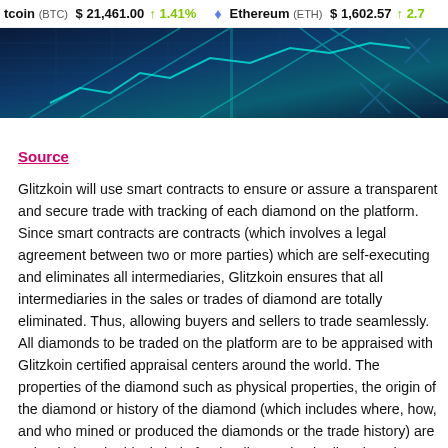Bitcoin (BTC) $21,461.00 ↑1.41%   Ethereum (ETH) $1,602.57 ↑2.7
[Figure (photo): Dark blue banner image with geometric/digital pattern suggesting blockchain or technology theme]
Source
Glitzkoin will use smart contracts to ensure or assure a transparent and secure trade with tracking of each diamond on the platform. Since smart contracts are contracts (which involves a legal agreement between two or more parties) which are self-executing and eliminates all intermediaries, Glitzkoin ensures that all intermediaries in the sales or trades of diamond are totally eliminated. Thus, allowing buyers and sellers to trade seamlessly. All diamonds to be traded on the platform are to be appraised with Glitzkoin certified appraisal centers around the world. The properties of the diamond such as physical properties, the origin of the diamond or history of the diamond (which includes where, how, and who mined or produced the diamonds or the trade history) are uploaded on the blockchain for the diamond to be listed on the platform.